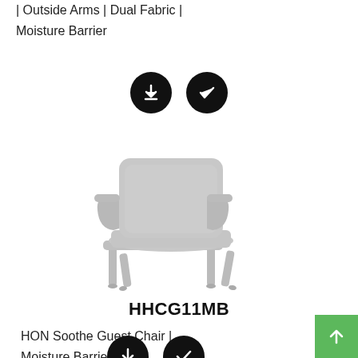| Outside Arms | Dual Fabric | Moisture Barrier
[Figure (screenshot): Two circular black icon buttons: a download arrow button and a checkmark button]
[Figure (photo): HON Soothe Guest Chair with moisture barrier, light gray upholstery and metal frame, four-legged base with armrests]
HHCG11MB
HON Soothe Guest Chair | Moisture Barrier
[Figure (screenshot): Two circular black icon buttons partially visible at bottom: a download arrow button and a checkmark button]
[Figure (screenshot): Green back-to-top button with white upward arrow in bottom-right corner]